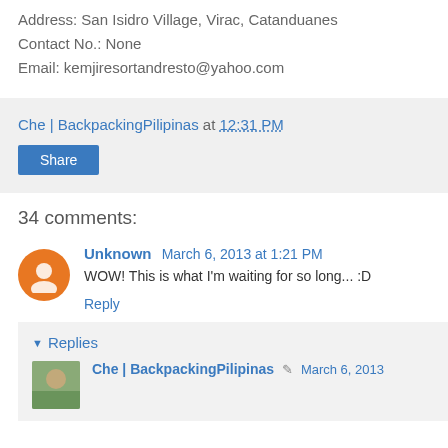Address: San Isidro Village, Virac, Catanduanes
Contact No.: None
Email: kemjiresortandresto@yahoo.com
Che | BackpackingPilipinas at 12:31 PM
Share
34 comments:
Unknown March 6, 2013 at 1:21 PM
WOW! This is what I'm waiting for so long... :D
Reply
Replies
Che | BackpackingPilipinas  March 6, 2013